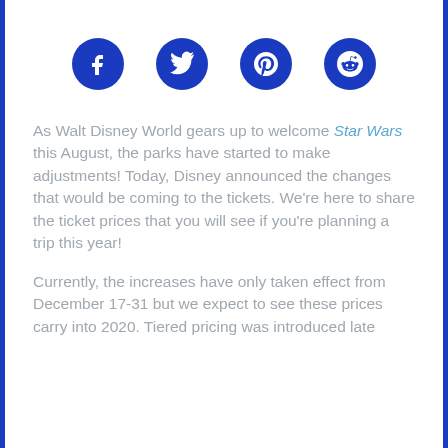[Figure (infographic): Four social media icon circles in dark blue: Facebook (f), Twitter (bird), Pinterest (P), Reddit (alien face)]
As Walt Disney World gears up to welcome Star Wars this August, the parks have started to make adjustments! Today, Disney announced the changes that would be coming to the tickets. We're here to share the ticket prices that you will see if you're planning a trip this year!
Currently, the increases have only taken effect from December 17-31 but we expect to see these prices carry into 2020. Tiered pricing was introduced late